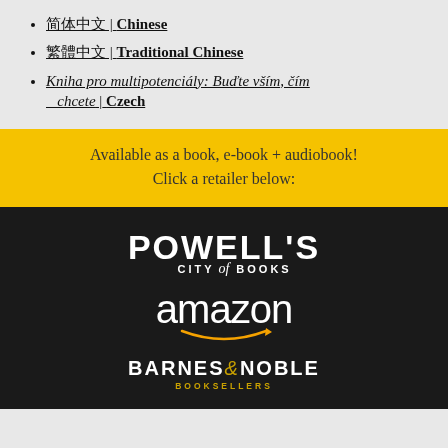简体中文 | Chinese
繁體中文 | Traditional Chinese
Kniha pro multipotenciály: Buďte vším, čím chcete | Czech
Available as a book, e-book + audiobook! Click a retailer below:
[Figure (logo): Powell's City of Books logo in white text on dark background]
[Figure (logo): Amazon logo in white text with orange smile arrow on dark background]
[Figure (logo): Barnes & Noble Booksellers logo in white and gold text on dark background]